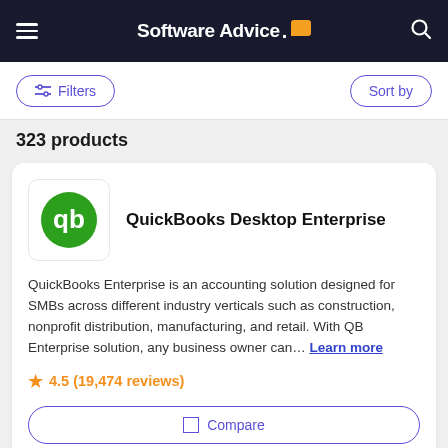Software Advice
Filters
Sort by
323 products
QuickBooks Desktop Enterprise
QuickBooks Enterprise is an accounting solution designed for SMBs across different industry verticals such as construction, nonprofit distribution, manufacturing, and retail. With QB Enterprise solution, any business owner can... Learn more
4.5 (19,474 reviews)
Compare